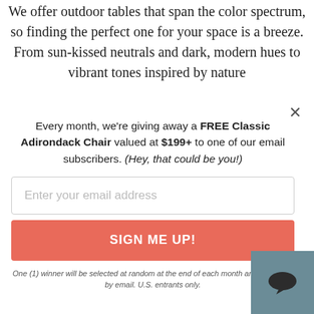We offer outdoor tables that span the color spectrum, so finding the perfect one for your space is a breeze. From sun-kissed neutrals and dark, modern hues to vibrant tones inspired by nature
Every month, we're giving away a FREE Classic Adirondack Chair valued at $199+ to one of our email subscribers. (Hey, that could be you!)
Enter your email address
SIGN ME UP!
One (1) winner will be selected at random at the end of each month and contacted by email. U.S. entrants only.